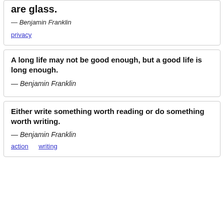are glass.
— Benjamin Franklin
privacy
A long life may not be good enough, but a good life is long enough.
— Benjamin Franklin
Either write something worth reading or do something worth writing.
— Benjamin Franklin
action   writing